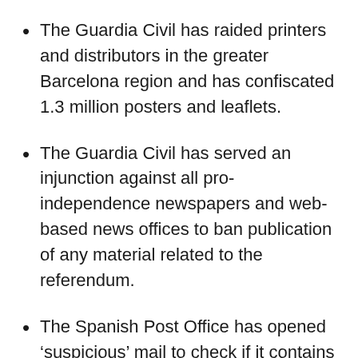The Guardia Civil has raided printers and distributors in the greater Barcelona region and has confiscated 1.3 million posters and leaflets.
The Guardia Civil has served an injunction against all pro-independence newspapers and web-based news offices to ban publication of any material related to the referendum.
The Spanish Post Office has opened 'suspicious' mail to check if it contains referendum-related material.
Meetings in public buildings have been